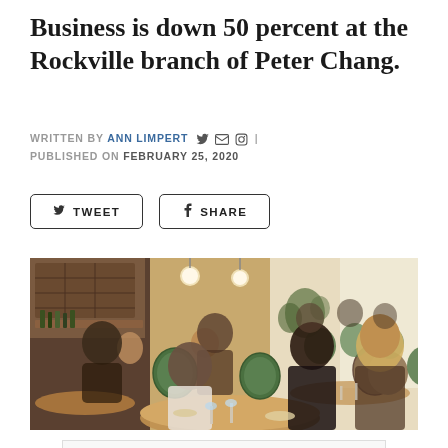Business is down 50 percent at the Rockville branch of Peter Chang.
WRITTEN BY ANN LIMPERT | PUBLISHED ON FEBRUARY 25, 2020
[Figure (photo): Interior of a busy restaurant dining room with patrons seated at round tables with wooden chairs with green upholstered backs. The space has warm lighting with pendant lamps and a bar area visible in the background.]